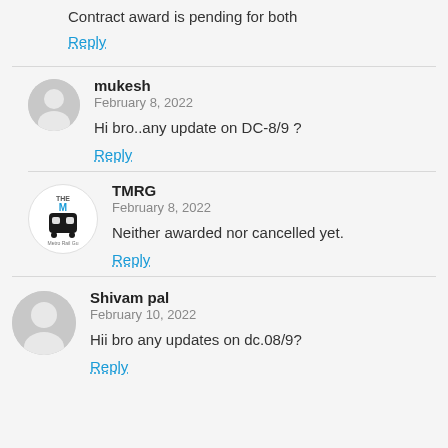Contract award is pending for both
Reply
mukesh
February 8, 2022
Hi bro..any update on DC-8/9 ?
Reply
TMRG
February 8, 2022
Neither awarded nor cancelled yet.
Reply
Shivam pal
February 10, 2022
Hii bro any updates on dc.08/9?
Reply